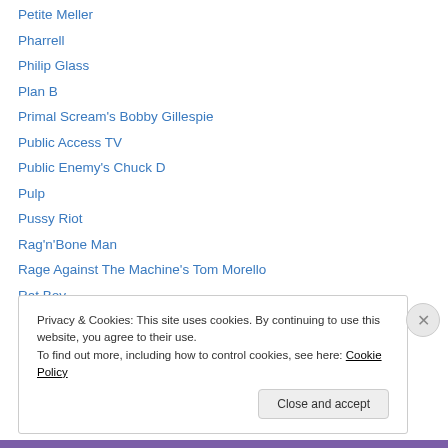Petite Meller
Pharrell
Philip Glass
Plan B
Primal Scream's Bobby Gillespie
Public Access TV
Public Enemy's Chuck D
Pulp
Pussy Riot
Rag'n'Bone Man
Rage Against The Machine's Tom Morello
Rat Boy
Ratking
Privacy & Cookies: This site uses cookies. By continuing to use this website, you agree to their use.
To find out more, including how to control cookies, see here: Cookie Policy
Close and accept